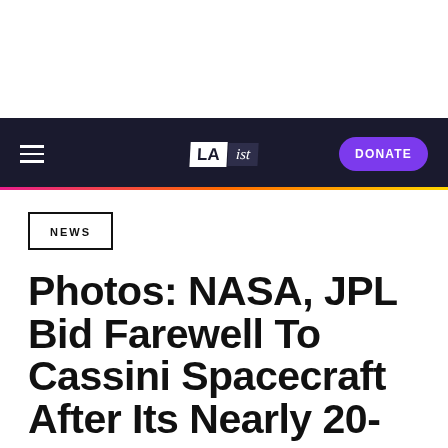LAist — DONATE
NEWS
Photos: NASA, JPL Bid Farewell To Cassini Spacecraft After Its Nearly 20-Year Journey Through Space